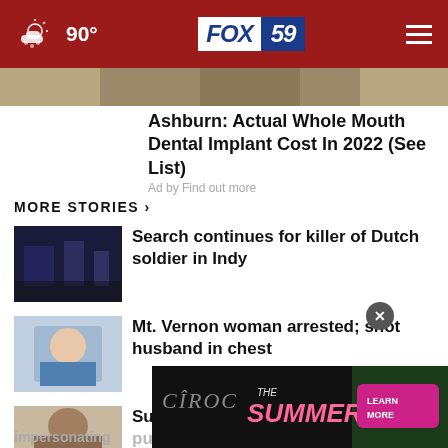90° FOX 59
[Figure (screenshot): Partially visible image at top of content area]
Ashburn: Actual Whole Mouth Dental Implant Cost In 2022 (See List)
Ad by Find out more
MORE STORIES ›
[Figure (photo): Dark bar/nightclub scene thumbnail]
Search continues for killer of Dutch soldier in Indy
[Figure (photo): Woman in blue shirt thumbnail]
Mt. Vernon woman arrested; shot husband in chest
[Figure (photo): Person mugshot thumbnail]
Suspect in deadly shooting outside pub arrested
[Figure (photo): Ciroc The Summer advertisement banner]
impersonating another officer